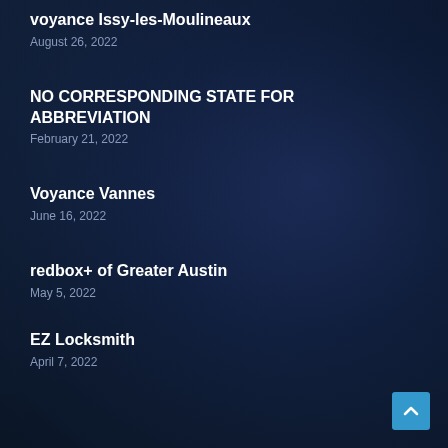voyance Issy-les-Moulineaux
August 26, 2022
NO CORRESPONDING STATE FOR ABBREVIATION
February 21, 2022
Voyance Vannes
June 16, 2022
redbox+ of Greater Austin
May 5, 2022
EZ Locksmith
April 7, 2022